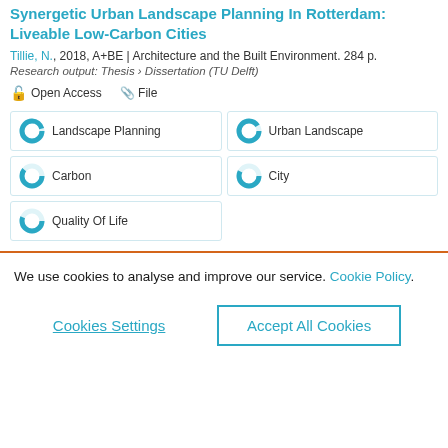Synergetic Urban Landscape Planning In Rotterdam: Liveable Low-Carbon Cities
Tillie, N., 2018, A+BE | Architecture and the Built Environment. 284 p.
Research output: Thesis › Dissertation (TU Delft)
Open Access   File
Landscape Planning
Urban Landscape
Carbon
City
Quality Of Life
We use cookies to analyse and improve our service. Cookie Policy
Cookies Settings
Accept All Cookies